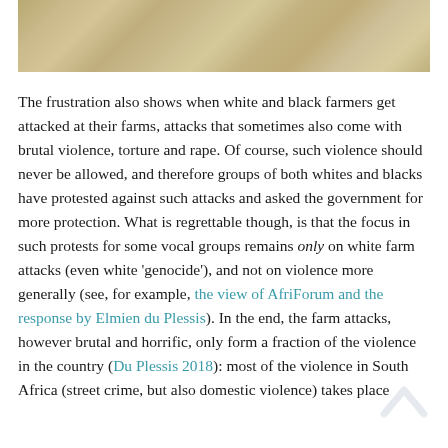[Figure (photo): Close-up photograph of dry grass or wheat field, golden/tan tones, cropped to a horizontal strip at top of page.]
The frustration also shows when white and black farmers get attacked at their farms, attacks that sometimes also come with brutal violence, torture and rape. Of course, such violence should never be allowed, and therefore groups of both whites and blacks have protested against such attacks and asked the government for more protection. What is regrettable though, is that the focus in such protests for some vocal groups remains only on white farm attacks (even white 'genocide'), and not on violence more generally (see, for example, the view of AfriForum and the response by Elmien du Plessis). In the end, the farm attacks, however brutal and horrific, only form a fraction of the violence in the country (Du Plessis 2018): most of the violence in South Africa (street crime, but also domestic violence) takes place...